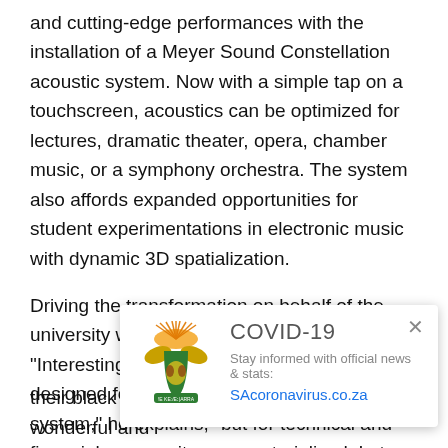and cutting-edge performances with the installation of a Meyer Sound Constellation acoustic system. Now with a simple tap on a touchscreen, acoustics can be optimized for lectures, dramatic theater, opera, chamber music, or a symphony orchestra. The system also affords expanded opportunities for student experimentations in electronic music with dynamic 3D spatialization.

Driving the transformation on behalf of the university was Prof. Dr. Georg Hajdu. “Interestingly, the Forum was originally designed for use with an active acoustic system,” he explains, “but for technical and financial reasons it never materialized. Later attempts to modify the somewhat unbalanced acoustics by me...

Prof. ...
exper...
Unive...
[Figure (infographic): COVID-19 popup notification with South African coat of arms logo. Title: COVID-19. Subtitle: Stay informed with official news & stats:. Link: SAcoronavirus.co.za. Close button (X) in top right.]
their black box theater and the room sounded wonderful and